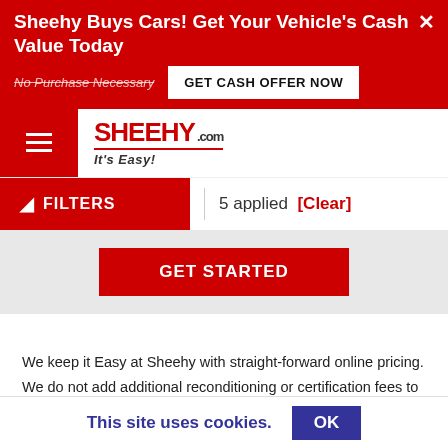Sheehy Buys Cars! Get Your Vehicle's Cash Value Today
No Purchase Necessary
GET CASH OFFER NOW
[Figure (logo): Sheehy.com It's Easy! logo with red text and underline]
FILTERS  5 applied  [Clear]
GET STARTED
We keep it Easy at Sheehy with straight-forward online pricing. We do not add additional reconditioning or certification fees to our posted online pricing, a majority of our competitors will add these fees to their price. We mention this as a courtesy to help you get accurate price
This site uses cookies.  OK